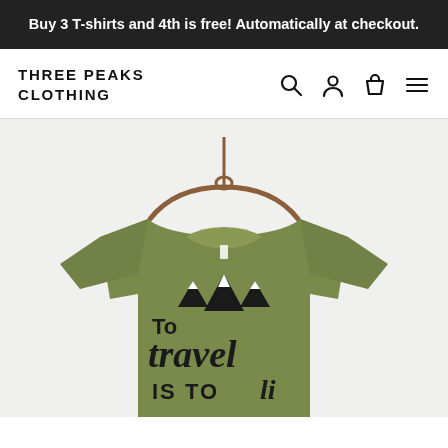Buy 3 T-shirts and 4th is free! Automatically at checkout.
THREE PEAKS CLOTHING
[Figure (photo): A green/olive colored t-shirt on a wooden hanger. The shirt has a graphic design with mountain icons and the text 'to travel IS TO li...' (live) on it in black lettering.]